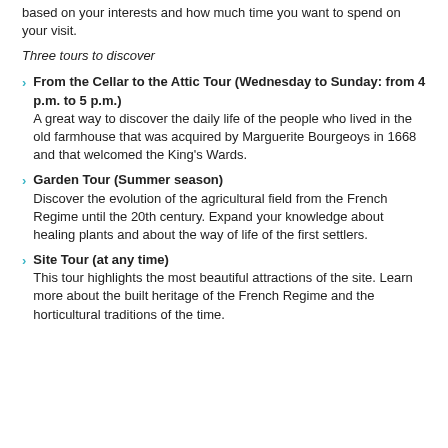based on your interests and how much time you want to spend on your visit.
Three tours to discover
From the Cellar to the Attic Tour (Wednesday to Sunday: from 4 p.m. to 5 p.m.) A great way to discover the daily life of the people who lived in the old farmhouse that was acquired by Marguerite Bourgeoys in 1668 and that welcomed the King's Wards.
Garden Tour (Summer season) Discover the evolution of the agricultural field from the French Regime until the 20th century. Expand your knowledge about healing plants and about the way of life of the first settlers.
Site Tour (at any time) This tour highlights the most beautiful attractions of the site. Learn more about the built heritage of the French Regime and the horticultural traditions of the time.